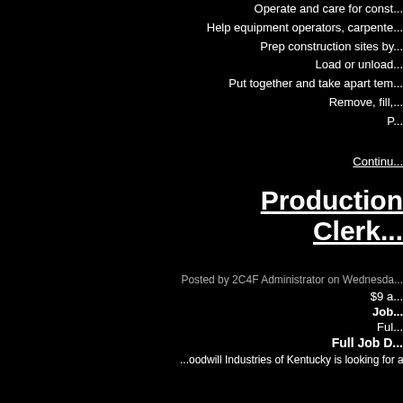Operate and care for const...
Help equipment operators, carpente...
Prep construction sites by...
Load or unload...
Put together and take apart tem...
Remove, fill,...
P...
Continu...
Production Clerk...
Posted by 2C4F Administrator on Wednesda...
$9 a...
Job...
Ful...
Full Job D...
...oodwill Industries of Kentucky is looking for a high ener... pos...
[Figure (advertisement): Advertisement banner for Women's Fashion VENUS with image of woman, shop online text, arrow button, and close button overlay. Infolinks label at top left.]